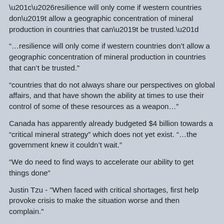“…resilience will only come if western countries don’t allow a geographic concentration of mineral production in countries that can’t be trusted.”
“countries that do not always share our perspectives on global affairs, and that have shown the ability at times to use their control of some of these resources as a weapon…”
Canada has apparently already budgeted $4 billion towards a “critical mineral strategy” which does not yet exist. “…the government knew it couldn’t wait.”
“We do need to find ways to accelerate our ability to get things done”
Justin Tzu - "When faced with critical shortages, first help provoke crisis to make the situation worse and then complain."
Posted by: jayc | Jun 19 2022 16:53 utc | 18
Julian Assange
Not that I am a big fan of tucker carlson (last party I was registered as was Partitdo Socialista Estados Unidos - Socialist Party USA - with roots and lineage to Eugene Debs and Norman Thomas). There was things to like for me with